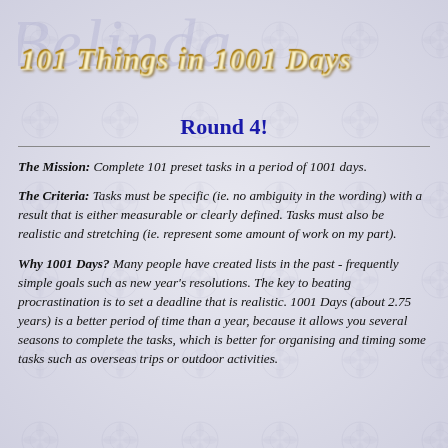[Figure (illustration): Decorative header with 'Belinda' in large cursive script watermark and '101 Things in 1001 Days' in gold italic text]
Round 4!
The Mission: Complete 101 preset tasks in a period of 1001 days.
The Criteria: Tasks must be specific (ie. no ambiguity in the wording) with a result that is either measurable or clearly defined. Tasks must also be realistic and stretching (ie. represent some amount of work on my part).
Why 1001 Days? Many people have created lists in the past - frequently simple goals such as new year's resolutions. The key to beating procrastination is to set a deadline that is realistic. 1001 Days (about 2.75 years) is a better period of time than a year, because it allows you several seasons to complete the tasks, which is better for organising and timing some tasks such as overseas trips or outdoor activities.